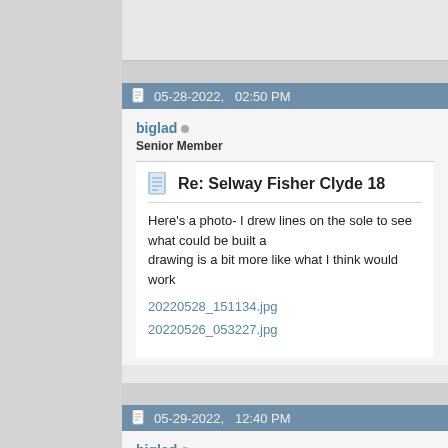05-28-2022, 02:50 PM
biglad
Senior Member
Re: Selway Fisher Clyde 18
Here's a photo- I drew lines on the sole to see what could be built a drawing is a bit more like what I think would work
20220528_151134.jpg
20220526_053227.jpg
05-29-2022, 12:40 PM
biglad
Senior Member
Re: Selway Fisher Clyde 18